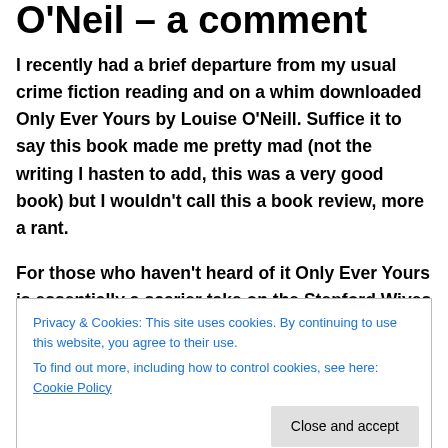O'Neil – a comment
I recently had a brief departure from my usual crime fiction reading and on a whim downloaded Only Ever Yours by Louise O'Neill. Suffice it to say this book made me pretty mad (not the writing I hasten to add, this was a very good book) but I wouldn't call this a book review, more a rant.
For those who haven't heard of it Only Ever Yours is essentially a scarier take on the Stepford Wives concept. The main character is Frieda and we see the world through her eyes. A world where women are created
Privacy & Cookies: This site uses cookies. By continuing to use this website, you agree to their use.
To find out more, including how to control cookies, see here: Cookie Policy
warning just how close this could be to real life